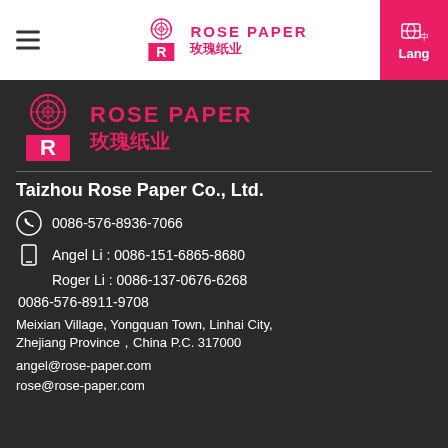Rose Paper 玫瑰纸业 — navigation bar with hamburger menu, centered logo, and Lang button
[Figure (logo): Rose Paper logo with stylized R mark and Chinese text 玫瑰纸业]
Taizhou Rose Paper Co., Ltd.
0086-576-8936-7066
Angel Li : 0086-151-6865-8680
Roger Li : 0086-137-0676-6268
0086-576-8911-9708
Meixian Village, Yongquan Town, Linhai City, Zhejiang Province，China P.C. 317000
angel@rose-paper.com
rose@rose-paper.com